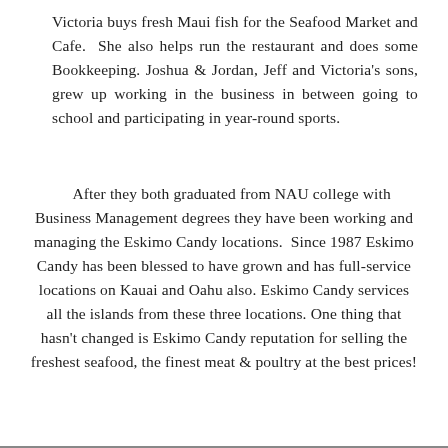Victoria buys fresh Maui fish for the Seafood Market and Cafe.  She also helps run the restaurant and does some Bookkeeping. Joshua & Jordan, Jeff and Victoria's sons, grew up working in the business in between going to school and participating in year-round sports.
After they both graduated from NAU college with Business Management degrees they have been working and managing the Eskimo Candy locations.  Since 1987 Eskimo Candy has been blessed to have grown and has full-service locations on Kauai and Oahu also. Eskimo Candy services all the islands from these three locations. One thing that hasn't changed is Eskimo Candy reputation for selling the freshest seafood, the finest meat & poultry at the best prices!